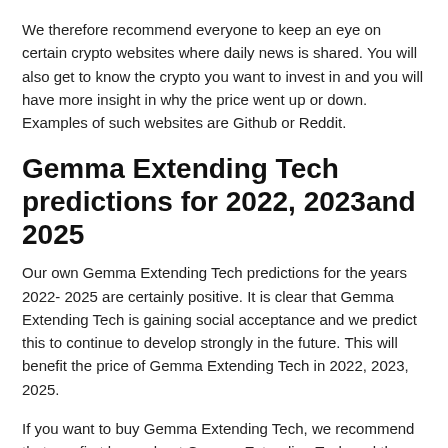We therefore recommend everyone to keep an eye on certain crypto websites where daily news is shared. You will also get to know the crypto you want to invest in and you will have more insight in why the price went up or down. Examples of such websites are Github or Reddit.
Gemma Extending Tech predictions for 2022, 2023and 2025
Our own Gemma Extending Tech predictions for the years 2022- 2025 are certainly positive. It is clear that Gemma Extending Tech is gaining social acceptance and we predict this to continue to develop strongly in the future. This will benefit the price of Gemma Extending Tech in 2022, 2023, 2025.
If you want to buy Gemma Extending Tech, we recommend that you first learn about Gemma Extending Tech and the latest Gemma Extending Tech price